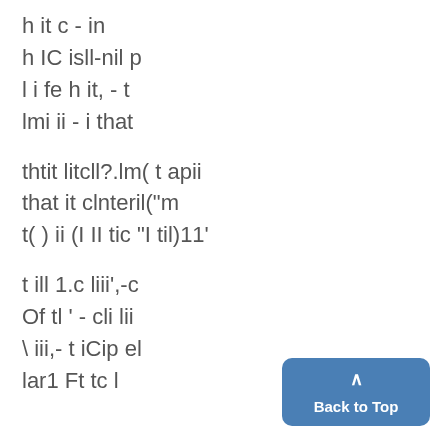h it c - in
h IC isll-nil p
l i fe h it, - t
lmi ii - i that
thtit litcll?.lm( t apii
that it clnteril("m
t( ) ii (I II tic "I til)11'
t ill 1.c liii',-c
Of tl ' - cli lii
\ iii,- t iCip el
lar1 Ft tc l